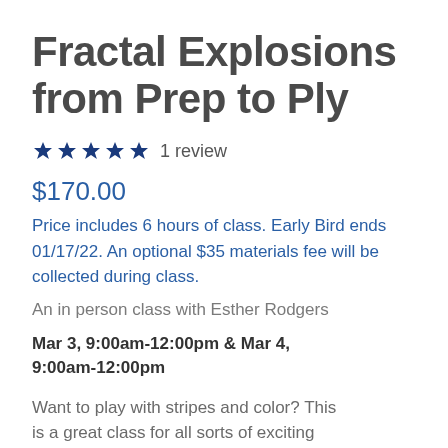Fractal Explosions from Prep to Ply
★★★★★ 1 review
$170.00
Price includes 6 hours of class. Early Bird ends 01/17/22. An optional $35 materials fee will be collected during class.
An in person class with Esther Rodgers
Mar 3, 9:00am-12:00pm & Mar 4, 9:00am-12:00pm
Want to play with stripes and color? This is a great class for all sorts of exciting…